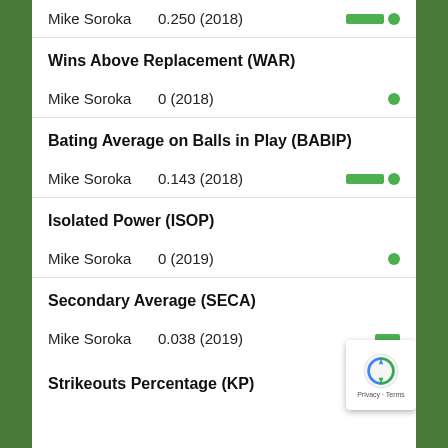Mike Soroka    0.250 (2018)
Wins Above Replacement (WAR)
Mike Soroka    0 (2018)
Bating Average on Balls in Play (BABIP)
Mike Soroka    0.143 (2018)
Isolated Power (ISOP)
Mike Soroka    0 (2019)
Secondary Average (SECA)
Mike Soroka    0.038 (2019)
Strikeouts Percentage (KP)